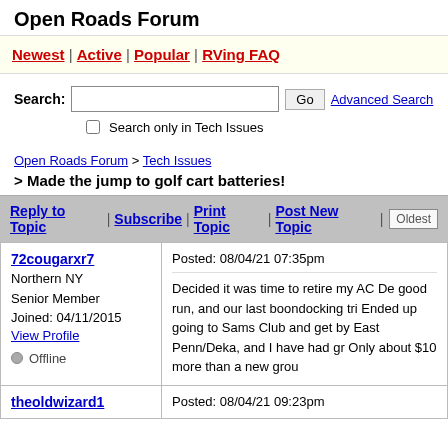Open Roads Forum
Newest | Active | Popular | RVing FAQ
Search: [input] Go  Advanced Search
☐ Search only in Tech Issues
Open Roads Forum > Tech Issues
> Made the jump to golf cart batteries!
Reply to Topic | Subscribe | Print Topic | Post New Topic | Oldest
72cougarxr7
Northern NY
Senior Member
Joined: 04/11/2015
View Profile
● Offline
Posted: 08/04/21 07:35pm
Decided it was time to retire my AC De good run, and our last boondocking tri Ended up going to Sams Club and get by East Penn/Deka, and I have had gr Only about $10 more than a new grou
theoldwizard1
Posted: 08/04/21 09:23pm